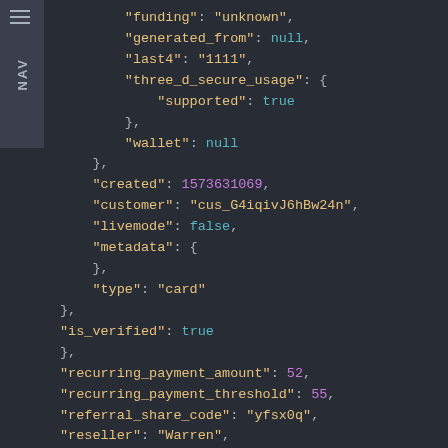[Figure (screenshot): Code editor screenshot showing JSON data with syntax highlighting on dark background. Contains fields: funding, generated_from, last4, three_d_secure_usage, wallet, created, customer, livemode, metadata, type, is_verified, recurring_payment_amount, recurring_payment_threshold, referral_share_code, reseller, restriction_level, running_totals with credit_amount, credit_available, discount_amount.]